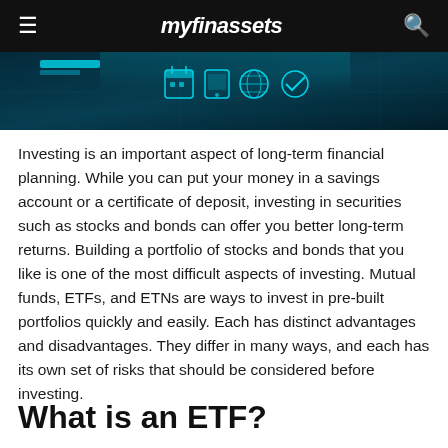myfinassets
[Figure (photo): Dark teal/blue digital technology interface background with glowing icons including a calendar, phone, globe and checkmark]
Investing is an important aspect of long-term financial planning. While you can put your money in a savings account or a certificate of deposit, investing in securities such as stocks and bonds can offer you better long-term returns. Building a portfolio of stocks and bonds that you like is one of the most difficult aspects of investing. Mutual funds, ETFs, and ETNs are ways to invest in pre-built portfolios quickly and easily. Each has distinct advantages and disadvantages. They differ in many ways, and each has its own set of risks that should be considered before investing.
What is an ETF?